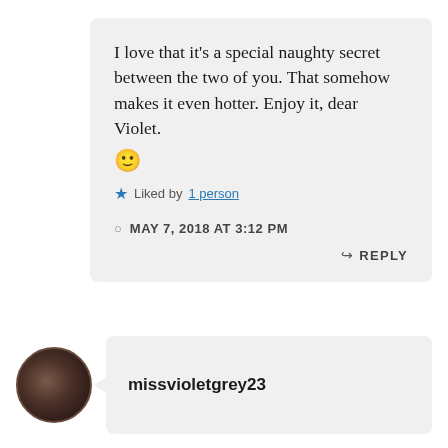I love that it's a special naughty secret between the two of you. That somehow makes it even hotter. Enjoy it, dear Violet. 🙂
★ Liked by 1 person
MAY 7, 2018 AT 3:12 PM
↳ REPLY
missvioletgrey23